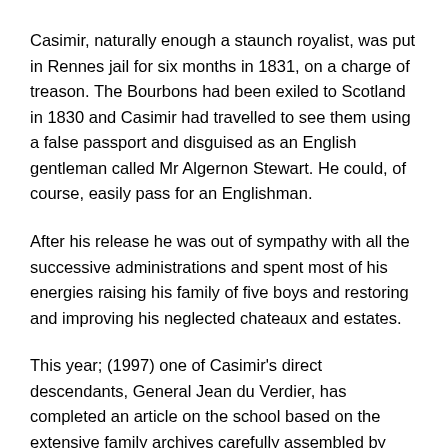Casimir, naturally enough a staunch royalist, was put in Rennes jail for six months in 1831, on a charge of treason. The Bourbons had been exiled to Scotland in 1830 and Casimir had travelled to see them using a false passport and disguised as an English gentleman called Mr Algernon Stewart. He could, of course, easily pass for an Englishman.
After his release he was out of sympathy with all the successive administrations and spent most of his energies raising his family of five boys and restoring and improving his neglected chateaux and estates.
This year; (1997) one of Casimir's direct descendants, General Jean du Verdier, has completed an article on the school based on the extensive family archives carefully assembled by Casimir in the library of the Chateau du Rox in Brittany, still owned and occupied by his great grandson, the present Comte de Genouillac.